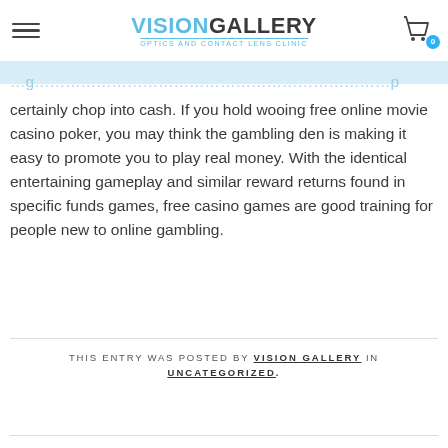VISION GALLERY Optics And Contact Lens Clinic
certainly chop into cash. If you hold wooing free online movie casino poker, you may think the gambling den is making it easy to promote you to play real money. With the identical entertaining gameplay and similar reward returns found in specific funds games, free casino games are good training for people new to online gambling.
THIS ENTRY WAS POSTED BY VISION GALLERY IN UNCATEGORIZED.